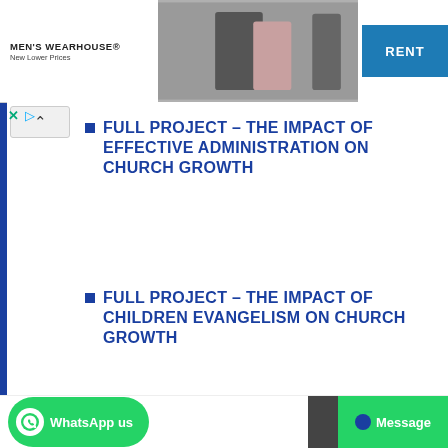[Figure (screenshot): Men's Wearhouse advertisement banner showing a couple in formal wear and a man in a suit, with a blue RENT button on the right.]
FULL PROJECT – THE IMPACT OF EFFECTIVE ADMINISTRATION ON CHURCH GROWTH
FULL PROJECT – THE IMPACT OF CHILDREN EVANGELISM ON CHURCH GROWTH
FULL PROJECT – THE IMPACT OF AFRICAN CULTURE ON CHRISTIANITY IN
[Figure (screenshot): WhatsApp us button (green) on the bottom left and a Message button (green) on the bottom right.]